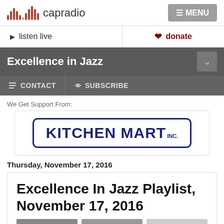capradio
listen live
donate
Excellence in Jazz
CONTACT  SUBSCRIBE
We Get Support From:
[Figure (logo): Kitchen Mart Inc. logo — blue bold text with rounded rectangle border]
Thursday, November 17, 2016
Excellence In Jazz Playlist, November 17, 2016